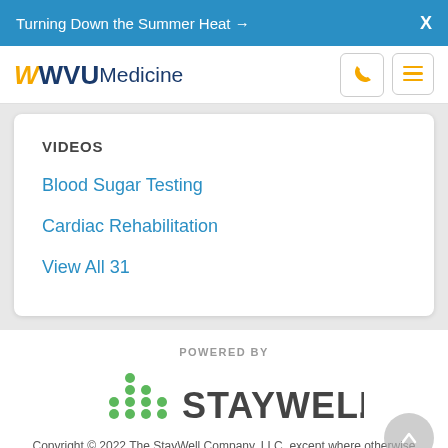Turning Down the Summer Heat →  X
[Figure (logo): WVU Medicine logo with golden W and blue WVU Medicine text, phone and menu icons]
VIDEOS
Blood Sugar Testing
Cardiac Rehabilitation
View All 31
POWERED BY
[Figure (logo): StayWell logo with green dots forming bar-chart shape and STAYWELL text in dark gray]
Copyright © 2022 The StayWell Company, LLC. except where otherwise